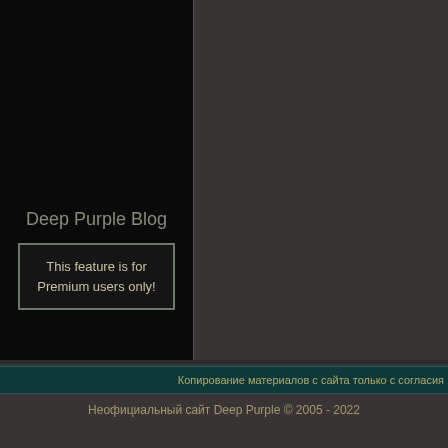[Figure (screenshot): Website screenshot showing a dark black left panel and dark grey right panel, representing a Deep Purple Blog page layout]
Deep Purple Blog
This feature is for Premium users only!
Копирование материалов с сайта только с согласия
Неофициальный сайт Deep Purple © 2005 - 2022